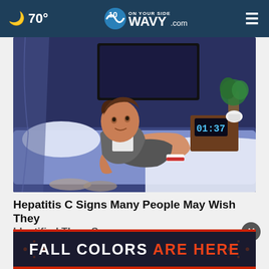70° WAVY.com ON YOUR SIDE
[Figure (illustration): Cartoon illustration of a young man lying on a bed in a dark bedroom, wearing a grey t-shirt and shorts. A digital clock on the nightstand shows 01:37. There is a TV on the wall and a plant in the corner.]
Hepatitis C Signs Many People May Wish They Identified Them Sooner
Hep C
[Figure (infographic): Advertisement banner reading FALL COLORS ARE HERE with decorative fall leaf pattern background]